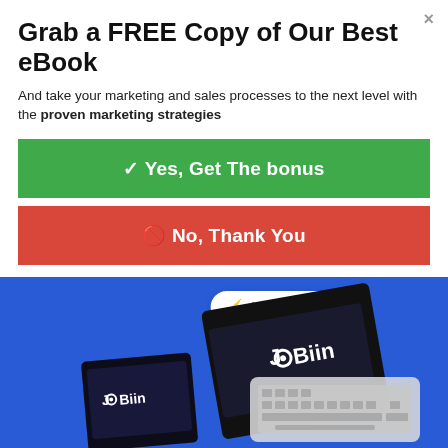Grab a FREE Copy of Our Best eBook
And take your marketing and sales processes to the next level with the proven marketing strategies
✓ Yes, Get The bonus
✕ No, Thank You
[Figure (photo): Product image showing JOBiin branded boxes and laptop keyboard on a blue background, with a 'by Convertful' badge overlay]
f  Twitter  Reddit  in  Pinterest  MW  Mix  WhatsApp  Share